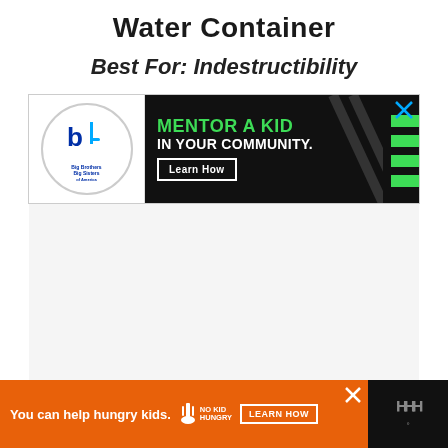Water Container
Best For: Indestructibility
[Figure (infographic): Big Brothers Big Sisters advertisement banner: circular BBBS logo on white left panel, black background main panel with green text 'MENTOR A KID' and white text 'IN YOUR COMMUNITY.', with a white-bordered 'Learn How' button, diagonal stripe pattern, green horizontal bars on right, and X close button in top right corner.]
[Figure (infographic): Orange advertisement banner at bottom: 'You can help hungry kids.' text on orange background with No Kid Hungry logo and 'LEARN HOW' button, X close button, on dark background with Wirecutter logo on far right.]